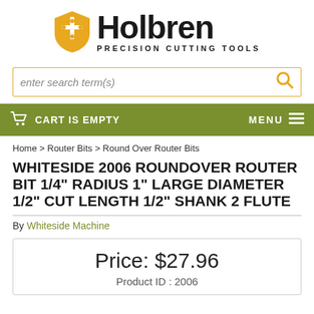[Figure (logo): Holbren Precision Cutting Tools logo with orange shield icon and bold black text]
enter search term(s)
CART IS EMPTY    MENU
Home > Router Bits > Round Over Router Bits
WHITESIDE 2006 ROUNDOVER ROUTER BIT 1/4" RADIUS 1" LARGE DIAMETER 1/2" CUT LENGTH 1/2" SHANK 2 FLUTE
By Whiteside Machine
Price: $27.96
Product ID : 2006